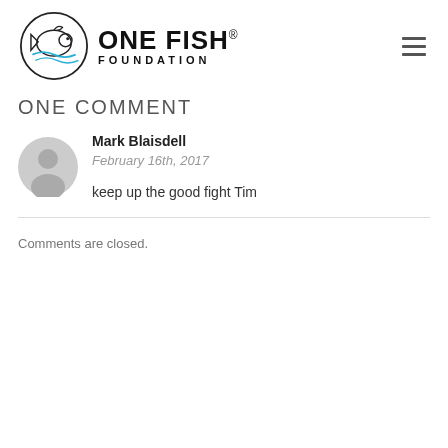[Figure (logo): One Fish Foundation logo with fish illustration in circle and text]
ONE COMMENT
[Figure (illustration): Generic grey user avatar icon]
Mark Blaisdell
February 16th, 2017
keep up the good fight Tim
Comments are closed.